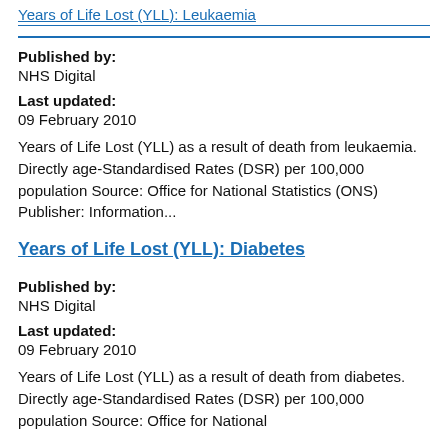Years of Life Lost (YLL): [Leukaemia] (truncated link)
Published by:
NHS Digital
Last updated:
09 February 2010
Years of Life Lost (YLL) as a result of death from leukaemia. Directly age-Standardised Rates (DSR) per 100,000 population Source: Office for National Statistics (ONS) Publisher: Information...
Years of Life Lost (YLL): Diabetes
Published by:
NHS Digital
Last updated:
09 February 2010
Years of Life Lost (YLL) as a result of death from diabetes. Directly age-Standardised Rates (DSR) per 100,000 population Source: Office for National